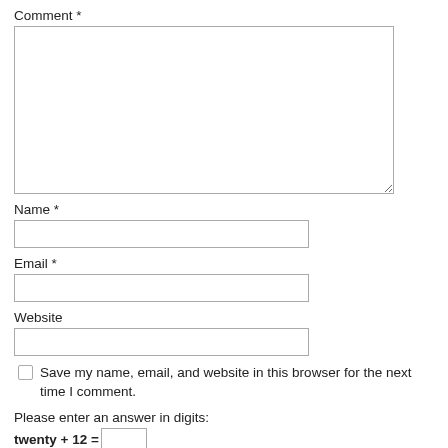Comment *
Name *
Email *
Website
Save my name, email, and website in this browser for the next time I comment.
Please enter an answer in digits:
Post Comment